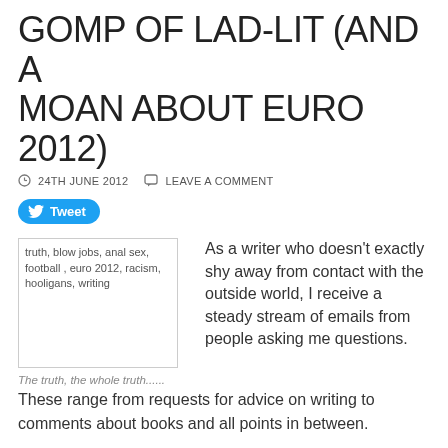GOMP OF LAD-LIT (AND A MOAN ABOUT EURO 2012)
24TH JUNE 2012   LEAVE A COMMENT
[Figure (other): Tweet button with Twitter bird icon]
[Figure (other): Image placeholder with alt text: truth, blow jobs, anal sex, football, euro 2012, racism, hooligans, writing]
The truth, the whole truth......
As a writer who doesn't exactly shy away from contact with the outside world, I receive a steady stream of emails from people asking me questions. These range from requests for advice on writing to comments about books and all points in between.
All are welcome, all appreciated and all replied to. After all, if someone has taken the trouble to mail me, it's usually because they have taken the time to read something I've written so the